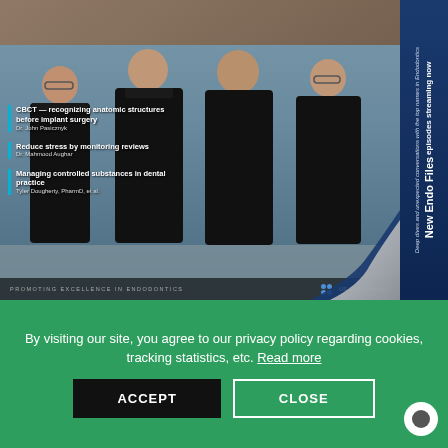[Figure (photo): Magazine cover showing four dentists/endodontists in black scrubs standing in front of a building. Blue sidebar on right with 'New Endo Files episodes streaming now' text. Article teasers overlaid on the left side of the photo. Bottom bar reads 'PROMOTING EXCELLENCE IN ENDODONTICS' and US Endo Partners logo. Page curl effect in bottom right corner of cover.]
By visiting our site, you agree to our privacy policy regarding cookies, tracking statistics, etc. Read more
ACCEPT
CLOSE